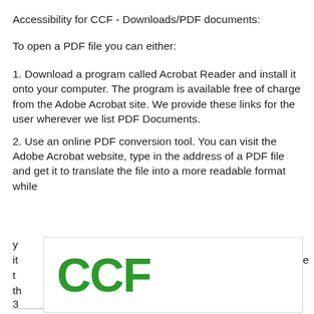Accessibility for CCF - Downloads/PDF documents:
To open a PDF file you can either:
1. Download a program called Acrobat Reader and install it onto your computer. The program is available free of charge from the Adobe Acrobat site. We provide these links for the user wherever we list PDF Documents.
2. Use an online PDF conversion tool. You can visit the Adobe Acrobat website, type in the address of a PDF file and get it to translate the file into a more readable format while
[Figure (logo): CCF logo in green bold text]
3.